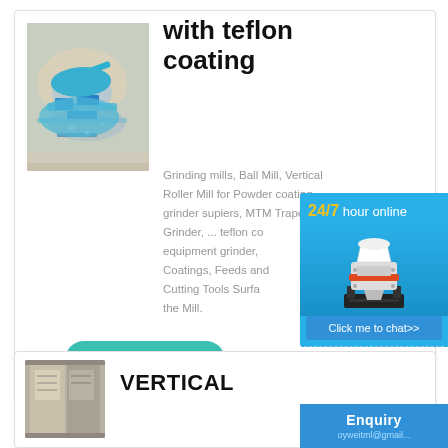with teflon coating
[Figure (photo): Aerial view of a mining/crushing operation site with blue machinery]
Grinding mills, Ball Mill, Vertical Roller Mill for Powder coating grinder supiers, MTM Trapezium Grinder, ... teflon coating equipment grinder, Coatings, Feeds and Cutting Tools Surface the Mill.
More
[Figure (infographic): 24/7 hour online chat widget with cone crusher machine image and Click me to chat>> button]
Enquiry
oyweitml@gmail...
[Figure (photo): Industrial building or vertical mill structure exterior photo]
VERTICAL